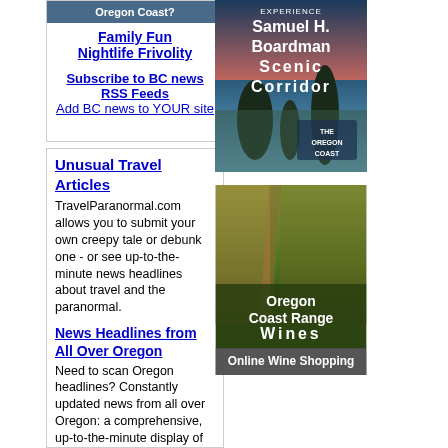[Figure (screenshot): Top of Oregon Coast image placeholder (clipped at top)]
Family Fun
Nightlife Frivolity
Subscribe to BC news RSS Feeds
Add BC news to YOUR site
[Figure (photo): Samuel H. Boardman Scenic Corridor - The Oregon Coast promotional image showing sea stacks and ocean at sunset]
Unusual Travel Articles
TravelParanormal.com allows you to submit your own creepy tale or debunk one - or see up-to-the-minute news headlines about travel and the paranormal.
News Headlines from All Over Oregon
Need to scan Oregon headlines? Constantly updated news from all over Oregon: a comprehensive, up-to-the-minute display of news headlines from a variety of media
Oregon Coast Oceanfront Lodging, Hotels, Rentals
[Figure (photo): Oregon Coast Range Wines - vineyard photo with text 'Oregon Coast Range Wines' and 'Online Wine Shopping']